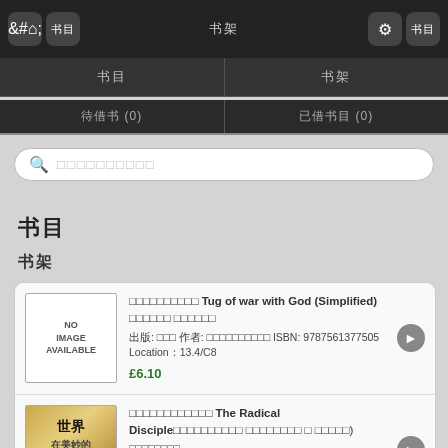[Figure (screenshot): Mobile app navigation bar with home icon, settings icon, and navigation buttons on dark background]
书目
书架
待借书 (0)
已借书目 (0)
搜索框占位文字
书目
书架
□□□□□□□□□□ Tug of war with God (Simplified) □□□□□□ □□□□
出版: □□□ 作者: □□□□□□□□□□ ISBN: 9787561377505
Location：13.4/C8
£6.10
□□□□□□□□□□□□ The Radical Disciple□□□□□□□□□□ □□□□□□□□ □□□□□)
□□□□□□□□
ISBN: 9780001034199